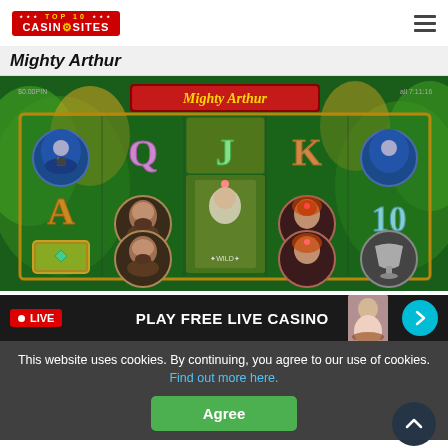TOP 10 CASINO SITES
Mighty Arthur
[Figure (screenshot): Mighty Arthur online slot game screenshot showing 5x3 reel grid with medieval themed symbols including helmets, Q, J, K card values, A, character portraits (male with beard, female with red hair), book, goblet, and 10 on a green forest background. Game title 'Mighty Arthur' displayed in ornate banner at top.]
LIVE  PLAY FREE LIVE CASINO
This website uses cookies. By continuing, you agree to our use of cookies. Find out more here.
Agree